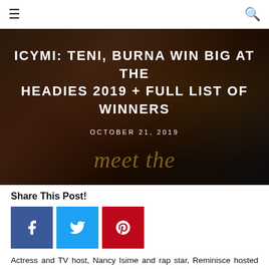☰  🔍
[Figure (photo): Hero image of Headies 2019 award ceremony with trophy visible on right side and people in background. Dark background with gold/amber tones.]
ICYMI: TENI, BURNA WIN BIG AT THE HEADIES 2019 + FULL LIST OF WINNERS
OCTOBER 21, 2019
Share This Post!
[Figure (infographic): Three social media share buttons: Facebook (blue), Twitter (light blue), Pinterest (red)]
Actress and TV host, Nancy Isime and rap star, Reminisce hosted the 13th edition of the Headies, which took place at Eko Hotel on Sunday, unfortunately, the award coincided with Wizkid's Starboy Fest in London which meant a lot of notable A-Listers were absent, nevertheless, the event was still a success.
Here are the winners of the 13th edition of the Headies